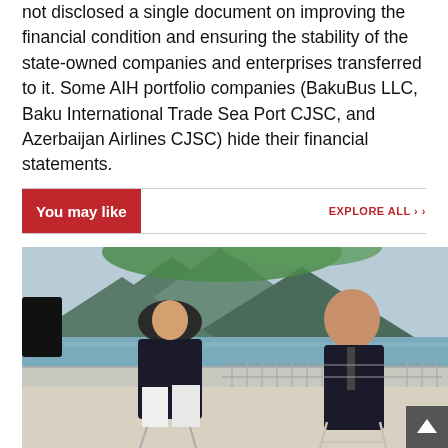not disclosed a single document on improving the financial condition and ensuring the stability of the state-owned companies and enterprises transferred to it. Some AIH portfolio companies (BakuBus LLC, Baku International Trade Sea Port CJSC, and Azerbaijan Airlines CJSC) hide their financial statements.
You may like
EXPLORE ALL ›
[Figure (photo): Two men seated outdoors in an interview setting with lake and mountain scenery in the background. One man faces away from the camera in a dark suit, the other faces the camera in a dark suit with a tie.]